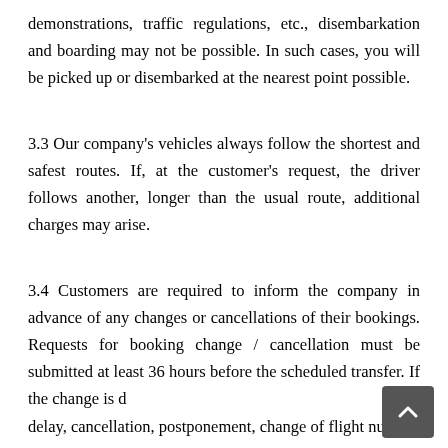demonstrations, traffic regulations, etc., disembarkation and boarding may not be possible. In such cases, you will be picked up or disembarked at the nearest point possible.
3.3 Our company's vehicles always follow the shortest and safest routes. If, at the customer's request, the driver follows another, longer than the usual route, additional charges may arise.
3.4 Customers are required to inform the company in advance of any changes or cancellations of their bookings. Requests for booking change / cancellation must be submitted at least 36 hours before the scheduled transfer. If the change is d… delay, cancellation, postponement, change of flight number…